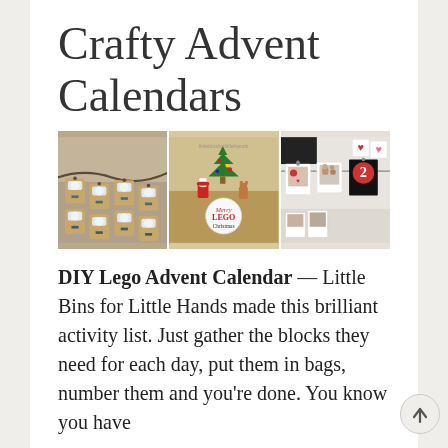Crafty Advent Calendars
[Figure (photo): Three-panel image strip showing crafty advent calendars: left panel shows snowman-decorated kraft paper bags on a garland, center panel shows a Merry Lego Christmas scene with Lego figures around a Christmas tree, right panel shows polaroid-style photo cards and numbered cards on a clothesline with heart shapes.]
DIY Lego Advent Calendar — Little Bins for Little Hands made this brilliant activity list. Just gather the blocks they need for each day, put them in bags, number them and you're done. You know you have